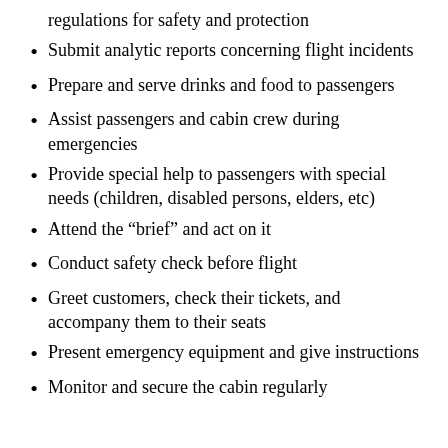regulations for safety and protection
Submit analytic reports concerning flight incidents
Prepare and serve drinks and food to passengers
Assist passengers and cabin crew during emergencies
Provide special help to passengers with special needs (children, disabled persons, elders, etc)
Attend the “brief” and act on it
Conduct safety check before flight
Greet customers, check their tickets, and accompany them to their seats
Present emergency equipment and give instructions
Monitor and secure the cabin regularly